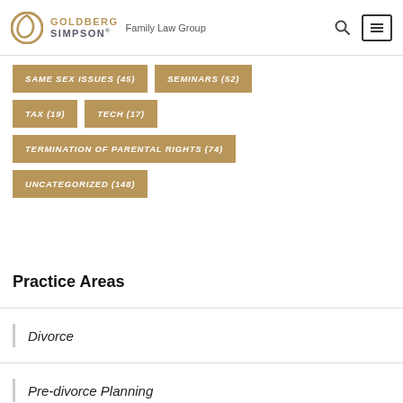GOLDBERG SIMPSON. Family Law Group
SAME SEX ISSUES (45)
SEMINARS (52)
TAX (19)
TECH (17)
TERMINATION OF PARENTAL RIGHTS (74)
UNCATEGORIZED (148)
Practice Areas
Divorce
Pre-divorce Planning